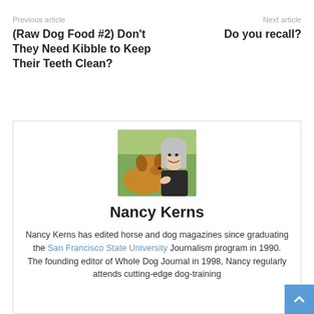Previous article
(Raw Dog Food #2) Don't They Need Kibble to Keep Their Teeth Clean?
Next article
Do you recall?
[Figure (photo): Photo of Nancy Kerns posing with a dog outdoors]
Nancy Kerns
Nancy Kerns has edited horse and dog magazines since graduating the San Francisco State University Journalism program in 1990. The founding editor of Whole Dog Journal in 1998, Nancy regularly attends cutting-edge dog-training